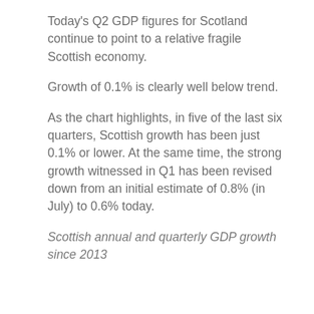Today's Q2 GDP figures for Scotland continue to point to a relative fragile Scottish economy.
Growth of 0.1% is clearly well below trend.
As the chart highlights, in five of the last six quarters, Scottish growth has been just 0.1% or lower. At the same time, the strong growth witnessed in Q1 has been revised down from an initial estimate of 0.8% (in July) to 0.6% today.
Scottish annual and quarterly GDP growth since 2013